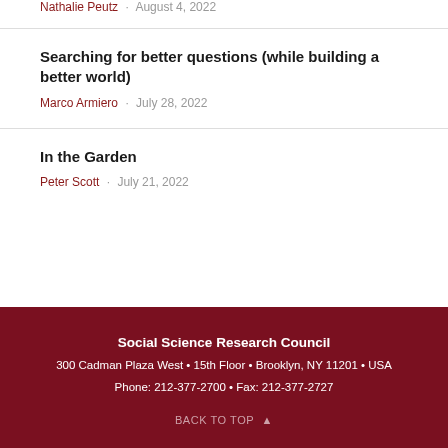Nathalie Peutz · August 4, 2022
Searching for better questions (while building a better world)
Marco Armiero · July 28, 2022
In the Garden
Peter Scott · July 21, 2022
Social Science Research Council
300 Cadman Plaza West • 15th Floor • Brooklyn, NY 11201 • USA
Phone: 212-377-2700 • Fax: 212-377-2727
BACK TO TOP ▲